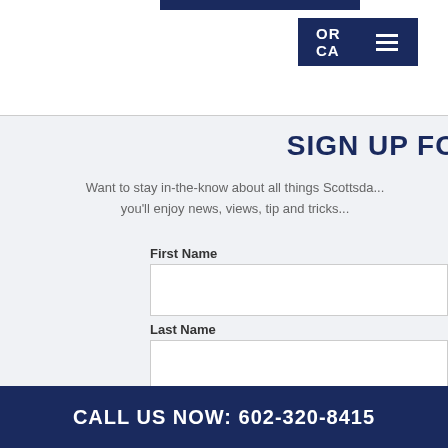OR CA
SIGN UP FO
Want to stay in-the-know about all things Scottsdale? you'll enjoy news, views, tip and tricks
First Name
Last Name
CALL US NOW: 602-320-8415